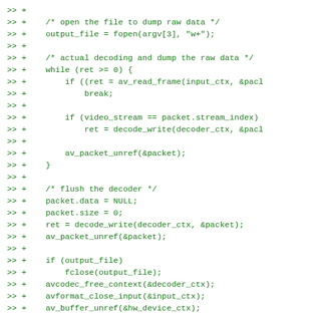>> +
>> +    /* open the file to dump raw data */
>> +    output_file = fopen(argv[3], "w+");
>> +
>> +    /* actual decoding and dump the raw data */
>> +    while (ret >= 0) {
>> +        if ((ret = av_read_frame(input_ctx, &pack
>> +            break;
>> +
>> +        if (video_stream == packet.stream_index)
>> +            ret = decode_write(decoder_ctx, &pack
>> +
>> +        av_packet_unref(&packet);
>> +    }
>> +
>> +    /* flush the decoder */
>> +    packet.data = NULL;
>> +    packet.size = 0;
>> +    ret = decode_write(decoder_ctx, &packet);
>> +    av_packet_unref(&packet);
>> +
>> +    if (output_file)
>> +        fclose(output_file);
>> +    avcodec_free_context(&decoder_ctx);
>> +    avformat_close_input(&input_ctx);
>> +    av_buffer_unref(&hw_device_ctx);
>> +
>> +    return 0;
>> +}
>> --
>> 2.11.0
>>